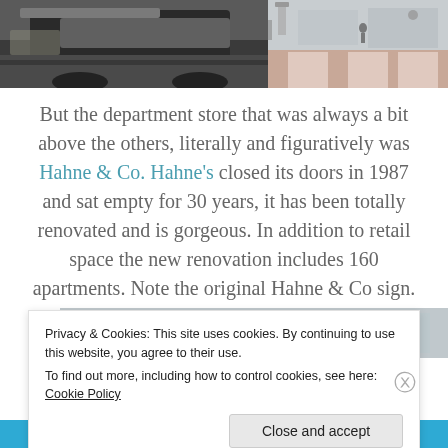[Figure (photo): Two side-by-side photos at the top: left shows a dark car close-up, right shows a street scene with a pink/red crosswalk area and pedestrians.]
But the department store that was always a bit above the others, literally and figuratively was Hahne & Co.  Hahne's closed its doors in 1987 and sat empty for 30 years, it has been totally renovated and is gorgeous.  In addition to retail space the new renovation includes 160 apartments.  Note the original Hahne & Co sign.
[Figure (photo): Partial photo visible behind cookie consent banner showing a building exterior.]
Privacy & Cookies: This site uses cookies. By continuing to use this website, you agree to their use.
To find out more, including how to control cookies, see here:
Cookie Policy
Close and accept